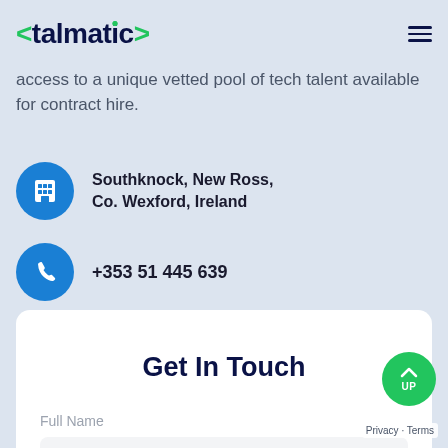<talmatic>
access to a unique vetted pool of tech talent available for contract hire.
Southknock, New Ross, Co. Wexford, Ireland
+353 51 445 639
Get In Touch
Full Name